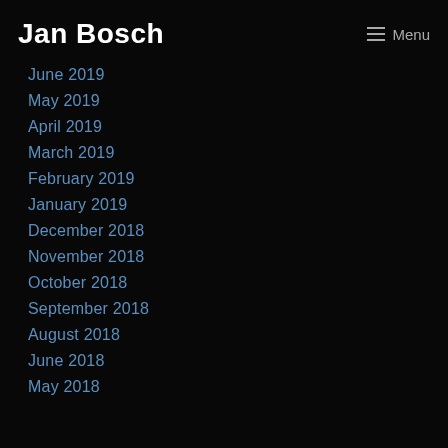Jan Bosch  ☰ Menu
June 2019
May 2019
April 2019
March 2019
February 2019
January 2019
December 2018
November 2018
October 2018
September 2018
August 2018
June 2018
May 2018